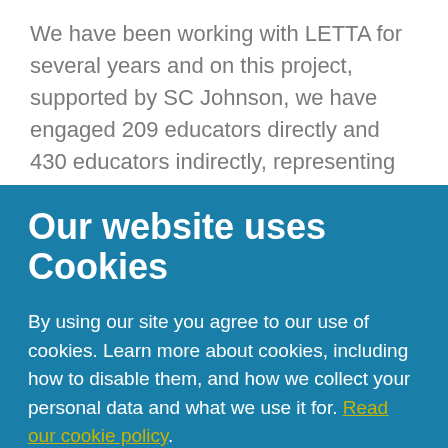We have been working with LETTA for several years and on this project, supported by SC Johnson, we have engaged 209 educators directly and 430 educators indirectly, representing 6,060
Our website uses Cookies
By using our site you agree to our use of cookies. Learn more about cookies, including how to disable them, and how we collect your personal data and what we use it for. Read our cookie policy.
Close